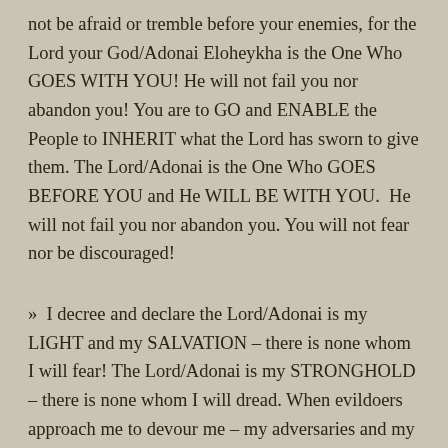not be afraid or tremble before your enemies, for the Lord your God/Adonai Eloheykha is the One Who GOES WITH YOU! He will not fail you nor abandon you! You are to GO and ENABLE the People to INHERIT what the Lord has sworn to give them. The Lord/Adonai is the One Who GOES BEFORE YOU and He WILL BE WITH YOU. He will not fail you nor abandon you. You will not fear nor be discouraged!
»  I decree and declare the Lord/Adonai is my LIGHT and my SALVATION – there is none whom I will fear! The Lord/Adonai is my STRONGHOLD – there is none whom I will dread. When evildoers approach me to devour me – my adversaries and my foes – they